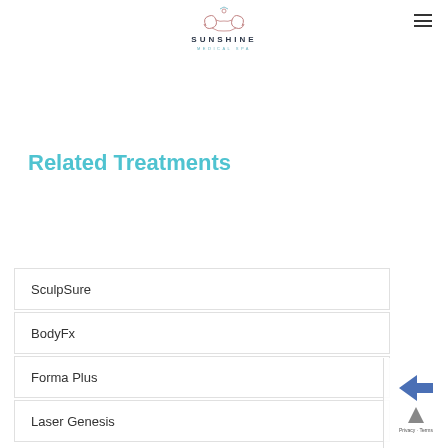[Figure (logo): Sunshine Medical Spa logo with decorative swirl emblem above the text SUNSHINE in dark letters and MEDICAL SPA in teal/cyan letters]
Related Treatments
SculpSure
BodyFx
Forma Plus
Laser Genesis